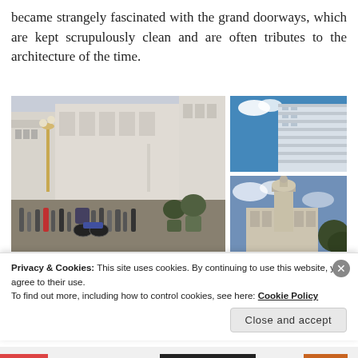became strangely fascinated with the grand doorways, which are kept scrupulously clean and are often tributes to the architecture of the time.
[Figure (photo): Collage of four architectural/street photos: large left photo showing a busy city street with classical European-style buildings and a crowd of pedestrians; top-right photo of a modern glass-and-concrete building against blue sky; bottom-right photo of an ornate historic building corner with a clock tower; bottom wide photo showing a tiled or paneled building facade.]
Privacy & Cookies: This site uses cookies. By continuing to use this website, you agree to their use.
To find out more, including how to control cookies, see here: Cookie Policy
Close and accept